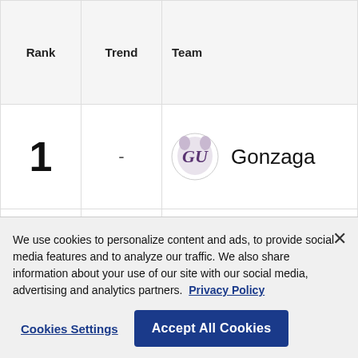| Rank | Trend | Team |
| --- | --- | --- |
| 1 | - | Gonzaga |
| 2 | - | Arizona |
| 3 | ↑ 3 | Kansas |
| 4 | ↓ 1 | Baylor |
We use cookies to personalize content and ads, to provide social media features and to analyze our traffic. We also share information about your use of our site with our social media, advertising and analytics partners. Privacy Policy